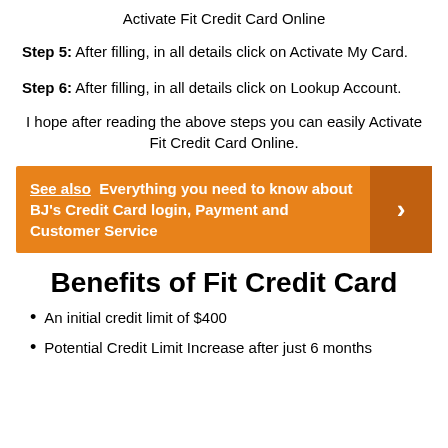Activate Fit Credit Card Online
Step 5: After filling, in all details click on Activate My Card.
Step 6: After filling, in all details click on Lookup Account.
I hope after reading the above steps you can easily Activate Fit Credit Card Online.
See also  Everything you need to know about BJ's Credit Card login, Payment and Customer Service
Benefits of Fit Credit Card
An initial credit limit of $400
Potential Credit Limit Increase after just 6 months